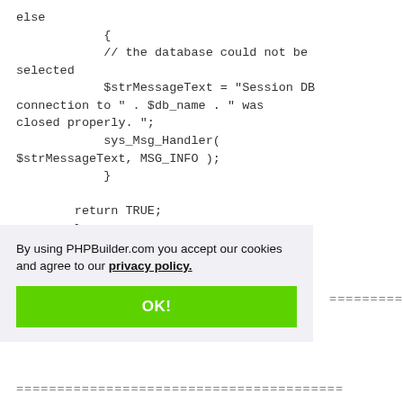else
            {
            // the database could not be selected
            $strMessageText = "Session DB connection to " . $db_name . " was closed properly. ";
            sys_Msg_Handler( $strMessageText, MSG_INFO );
            }

        return TRUE;
        }
By using PHPBuilder.com you accept our cookies and agree to our privacy policy.
OK!
========================================